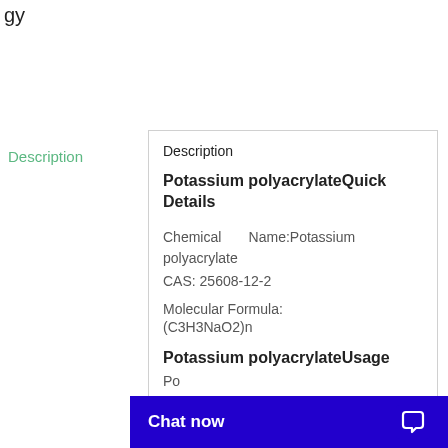gy
Description
Description
Potassium polyacrylateQuick Details
Chemical Name:Potassium polyacrylate
CAS: 25608-12-2
Molecular Formula:
(C3H3NaO2)n
Potassium polyacrylateUsage
Po